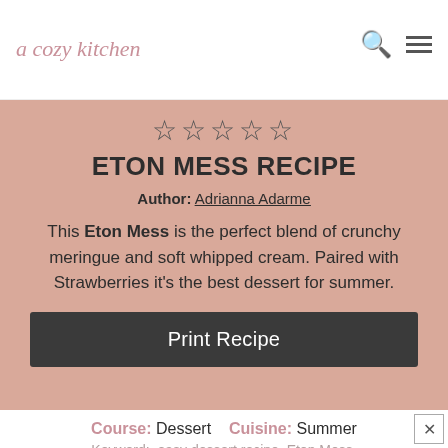a cozy kitchen
ETON MESS RECIPE
Author: Adrianna Adarme
This Eton Mess is the perfect blend of crunchy meringue and soft whipped cream. Paired with Strawberries it's the best dessert for summer.
Print Recipe
Course: Dessert   Cuisine: Summer
Keyword: easy dessert recipe, Eton Mess, Strawberries, summer dessert
Prep Time: 20 mins   Cook Time: 1 h